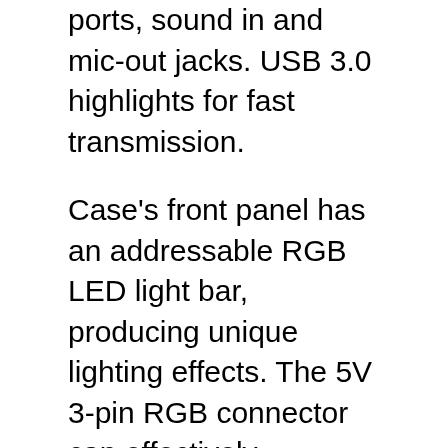ports, sound in and mic-out jacks. USB 3.0 highlights for fast transmission.
Case's front panel has an addressable RGB LED light bar, producing unique lighting effects. The 5V 3-pin RGB connector can effectively constrain it on the motherboard. This case is a plan for better execution of cooling. Therefore, the shell side has smooth and treated solid glass, which can use to level the equipment and internal parts.
Lastly, It includes a smooth and vigorous safety glass board put on the inside sides of the case to show the PC's equipment and inner parts. The Segotep Phoenix PC case is expertly planned with incredible wind stream and cooling frameworks to upgrade the best